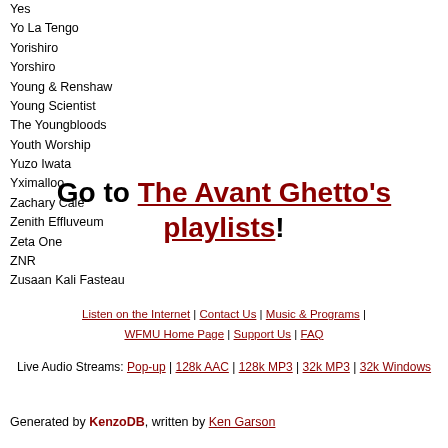Yes
Yo La Tengo
Yorishiro
Yorshiro
Young & Renshaw
Young Scientist
The Youngbloods
Youth Worship
Yuzo Iwata
Yximalloo
Zachary Cale
Zenith Effluveum
Zeta One
ZNR
Zusaan Kali Fasteau
Go to The Avant Ghetto's playlists!
Listen on the Internet | Contact Us | Music & Programs | WFMU Home Page | Support Us | FAQ
Live Audio Streams: Pop-up | 128k AAC | 128k MP3 | 32k MP3 | 32k Windows
Generated by KenzoDB, written by Ken Garson